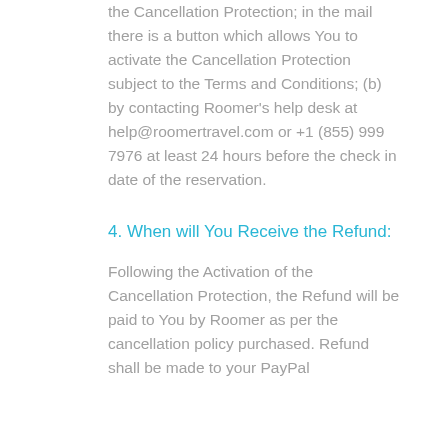the Cancellation Protection; in the mail there is a button which allows You to activate the Cancellation Protection subject to the Terms and Conditions; (b) by contacting Roomer's help desk at help@roomertravel.com or +1 (855) 999 7976 at least 24 hours before the check in date of the reservation.
4. When will You Receive the Refund:
Following the Activation of the Cancellation Protection, the Refund will be paid to You by Roomer as per the cancellation policy purchased. Refund shall be made to your PayPal